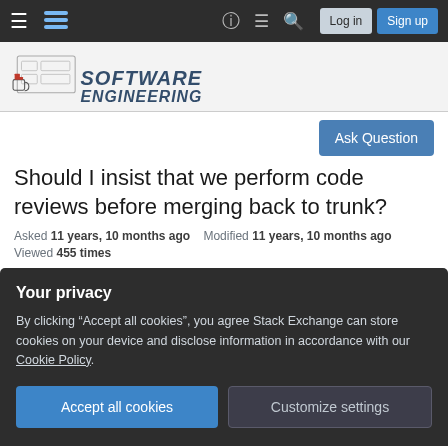Navigation bar with hamburger menu, Stack Exchange logo, help, chat, search icons, Log in and Sign up buttons
[Figure (logo): Software Engineering Stack Exchange site logo with illustrated server/computer sketch and stylized 'SOFTWARE ENGINEERING' text]
Ask Question
Should I insist that we perform code reviews before merging back to trunk?
Asked 11 years, 10 months ago   Modified 11 years, 10 months ago
Viewed 455 times
Your privacy
By clicking "Accept all cookies", you agree Stack Exchange can store cookies on your device and disclose information in accordance with our Cookie Policy.
Accept all cookies
Customize settings
is important for the result of our work, but not about contribute to the development that
[Figure (other): Partially visible voting arrows or similar interactive element at bottom left]